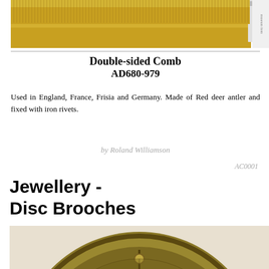[Figure (photo): A golden double-sided comb shown from above, with fine teeth visible along its length]
Double-sided Comb
AD680-979
Used in England, France, Frisia and Germany. Made of Red deer antler and fixed with iron rivets.
by Roland Williamson
AC0001
Jewellery -
Disc Brooches
[Figure (photo): A circular disc brooch with intricate interlaced knotwork decoration and small raised studs, photographed against a light background]